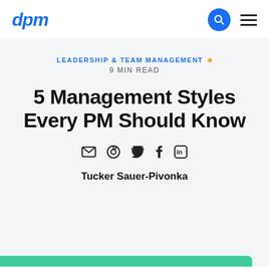dpm
LEADERSHIP & TEAM MANAGEMENT • 9 MIN READ
5 Management Styles Every PM Should Know
Tucker Sauer-Pivonka